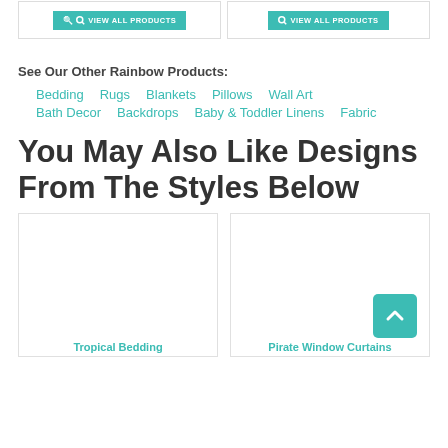[Figure (screenshot): Two 'VIEW ALL PRODUCTS' teal buttons side by side in card frames at the top of the page]
See Our Other Rainbow Products:
Bedding   Rugs   Blankets   Pillows   Wall Art
Bath Decor   Backdrops   Baby & Toddler Linens   Fabric
You May Also Like Designs From The Styles Below
[Figure (screenshot): Two product preview cards side by side — left card for Tropical Bedding, right card for Pirate Window Curtains, with a teal back-to-top arrow button overlaid on the right card]